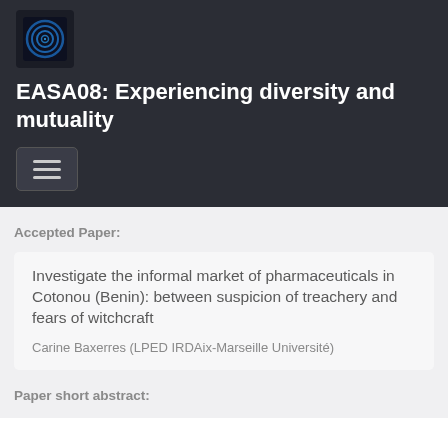[Figure (logo): Circular logo with blue concentric rings on dark background]
EASA08: Experiencing diversity and mutuality
[Figure (other): Hamburger menu button icon with three horizontal lines]
Accepted Paper:
Investigate the informal market of pharmaceuticals in Cotonou (Benin): between suspicion of treachery and fears of witchcraft
Carine Baxerres (LPED IRDAix-Marseille Université)
Paper short abstract: